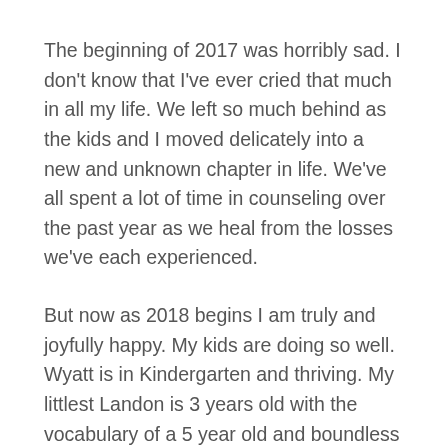The beginning of 2017 was horribly sad. I don't know that I've ever cried that much in all my life. We left so much behind as the kids and I moved delicately into a new and unknown chapter in life. We've all spent a lot of time in counseling over the past year as we heal from the losses we've each experienced.
But now as 2018 begins I am truly and joyfully happy. My kids are doing so well. Wyatt is in Kindergarten and thriving. My littlest Landon is 3 years old with the vocabulary of a 5 year old and boundless amounts of energy. The boys still have a wonderful relationship with their dad and see him every week.
I've also been blessed to find a new love who makes each day so beautiful for me. I am constantly in awe of how he